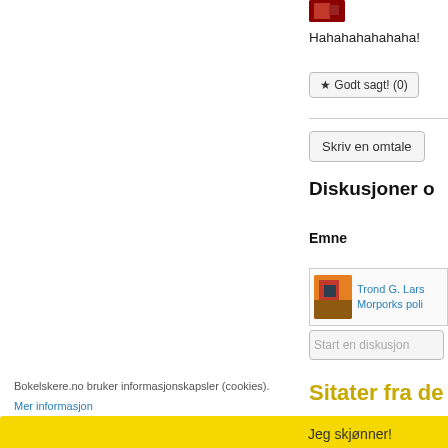[Figure (photo): Small avatar image, partial red/dark image visible at top right]
Hahahahahahaha!
★ Godt sagt! (0)
Skriv en omtale
Diskusjoner o
Emne
[Figure (photo): Small avatar image orange/dark colors, discussion entry with user Trond G. Lars and topic Morporks poli]
Trond G. Lars
Morporks poli
Start en diskusjon
Sitater fra de
Bokelskere.no bruker informasjonskapsler (cookies).
Mer informasjon
Jeg skjønner!